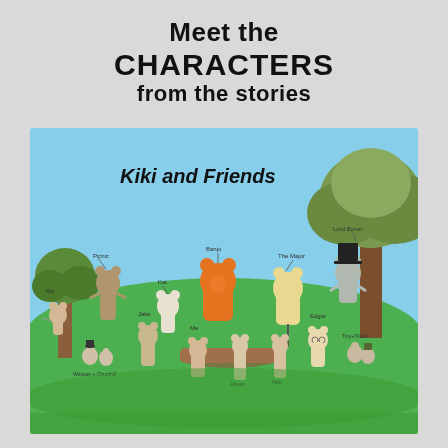Meet the CHARACTERS from the stories
[Figure (illustration): Illustration titled 'Kiki and Friends' showing a group of cartoon cats and mice characters in an outdoor scene with green grass, trees, and blue sky. Characters are labeled with names including: Kiki, Picnic, Kat, Banjo, Lord Byron (wearing a top hat), The Major, Jake, Me, Edgar, Niki, Winston, Churchill, Alban, Albert, Tiny, TiGah.]